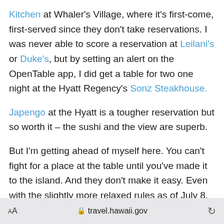Kitchen at Whaler's Village, where it's first-come, first-served since they don't take reservations. I was never able to score a reservation at Leilani's or Duke's, but by setting an alert on the OpenTable app, I did get a table for two one night at the Hyatt Regency's Sonz Steakhouse. Japengo at the Hyatt is a tougher reservation but so worth it – the sushi and the view are superb.
But I'm getting ahead of myself here. You can't fight for a place at the table until you've made it to the island. And they don't make it easy. Even with the slightly more relaxed rules as of July 8, 2021, you still have a lot of work to do. Bookmark the travel.hawaii.gov web site because you will be spending a lot of time there prior to your trip.
aA  🔒 travel.hawaii.gov  ↺